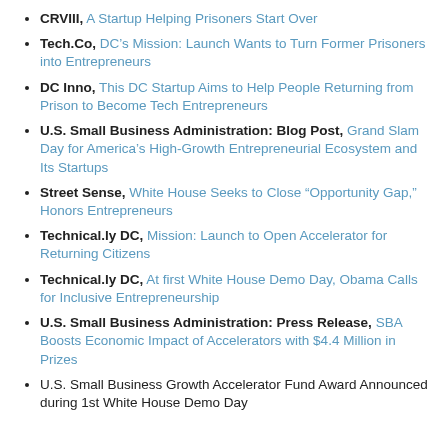CRVIII, A Startup Helping Prisoners Start Over
Tech.Co, DC’s Mission: Launch Wants to Turn Former Prisoners into Entrepreneurs
DC Inno, This DC Startup Aims to Help People Returning from Prison to Become Tech Entrepreneurs
U.S. Small Business Administration: Blog Post, Grand Slam Day for America’s High-Growth Entrepreneurial Ecosystem and Its Startups
Street Sense, White House Seeks to Close “Opportunity Gap,” Honors Entrepreneurs
Technical.ly DC, Mission: Launch to Open Accelerator for Returning Citizens
Technical.ly DC, At first White House Demo Day, Obama Calls for Inclusive Entrepreneurship
U.S. Small Business Administration: Press Release, SBA Boosts Economic Impact of Accelerators with $4.4 Million in Prizes
U.S. Small Business Growth Accelerator Fund Award Announced during 1st White House Demo Day
July 2015